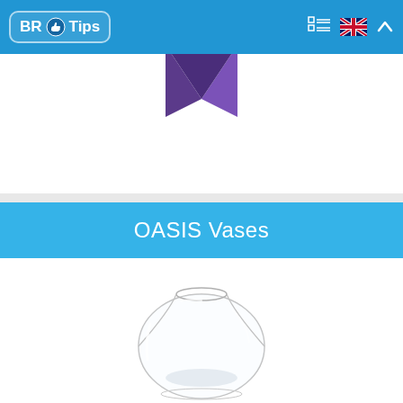BR Tips
[Figure (illustration): Purple 3D diamond/arrow shape pointing downward, partially visible at top of white area]
OASIS Vases
[Figure (photo): Clear glass round/bubble vase, spherical shape with wide opening at top, transparent glass]